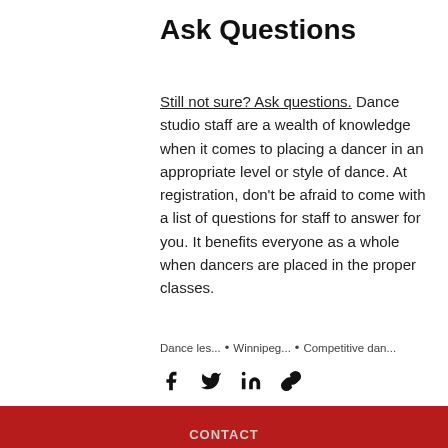Ask Questions
Still not sure? Ask questions. Dance studio staff are a wealth of knowledge when it comes to placing a dancer in an appropriate level or style of dance. At registration, don't be afraid to come with a list of questions for staff to answer for you. It benefits everyone as a whole when dancers are placed in the proper classes.
Dance les...  •  Winnipeg...  •  Competitive dan...
CONTACT